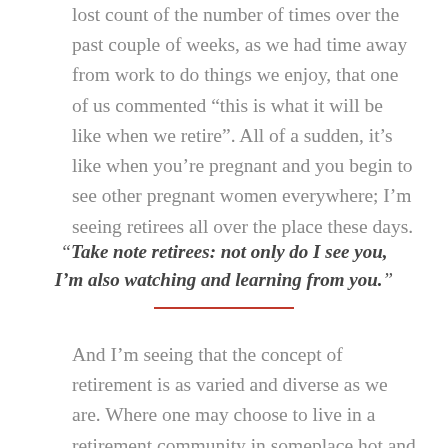lost count of the number of times over the past couple of weeks, as we had time away from work to do things we enjoy, that one of us commented “this is what it will be like when we retire”. All of a sudden, it’s like when you’re pregnant and you begin to see other pregnant women everywhere; I’m seeing retirees all over the place these days.
“Take note retirees: not only do I see you, I’m also watching and learning from you.”
And I’m seeing that the concept of retirement is as varied and diverse as we are. Where one may choose to live in a retirement community in someplace hot and